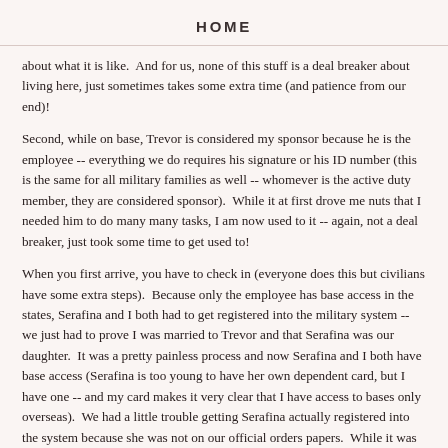HOME
about what it is like.  And for us, none of this stuff is a deal breaker about living here, just sometimes takes some extra time (and patience from our end)!
Second, while on base, Trevor is considered my sponsor because he is the employee -- everything we do requires his signature or his ID number (this is the same for all military families as well -- whomever is the active duty member, they are considered sponsor).  While it at first drove me nuts that I needed him to do many many tasks, I am now used to it -- again, not a deal breaker, just took some time to get used to!
When you first arrive, you have to check in (everyone does this but civilians have some extra steps).  Because only the employee has base access in the states, Serafina and I both had to get registered into the military system -- we just had to prove I was married to Trevor and that Serafina was our daughter.  It was a pretty painless process and now Serafina and I both have base access (Serafina is too young to have her own dependent card, but I have one -- and my card makes it very clear that I have access to bases only overseas).  We had a little trouble getting Serafina actually registered into the system because she was not on our official orders papers.  While it was frustrating, everyone was very nice and we got it taken care of within 48 hours -- just required a